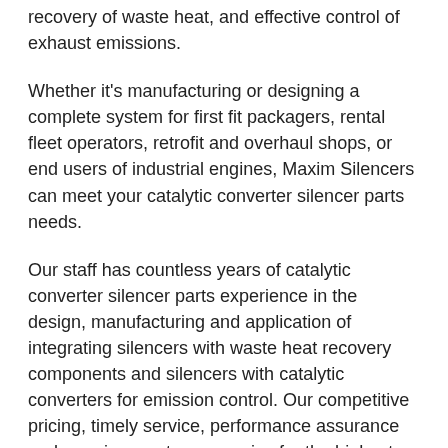recovery of waste heat, and effective control of exhaust emissions.
Whether it's manufacturing or designing a complete system for first fit packagers, rental fleet operators, retrofit and overhaul shops, or end users of industrial engines, Maxim Silencers can meet your catalytic converter silencer parts needs.
Our staff has countless years of catalytic converter silencer parts experience in the design, manufacturing and application of integrating silencers with waste heat recovery components and silencers with catalytic converters for emission control. Our competitive pricing, timely service, performance assurance and premium customer service for the highest quality products in the industry ensure your job gets done on time to your strict specifications.